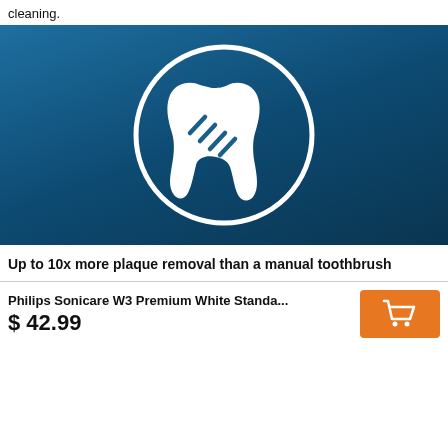cleaning.
[Figure (illustration): Blue background with a white tooth icon inside a white circle, representing plaque removal cleaning feature]
Up to 10x more plaque removal than a manual toothbrush
Philips Sonicare W3 Premium White Standa...
$ 42.99